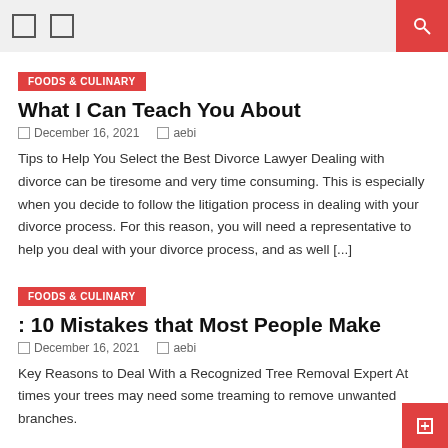navigation header with icons and search button
FOODS & CULINARY
What I Can Teach You About
December 16, 2021   aebi
Tips to Help You Select the Best Divorce Lawyer Dealing with divorce can be tiresome and very time consuming. This is especially when you decide to follow the litigation process in dealing with your divorce process. For this reason, you will need a representative to help you deal with your divorce process, and as well [...]
FOODS & CULINARY
: 10 Mistakes that Most People Make
December 16, 2021   aebi
Key Reasons to Deal With a Recognized Tree Removal Expert At times your trees may need some treaming to remove unwanted branches.